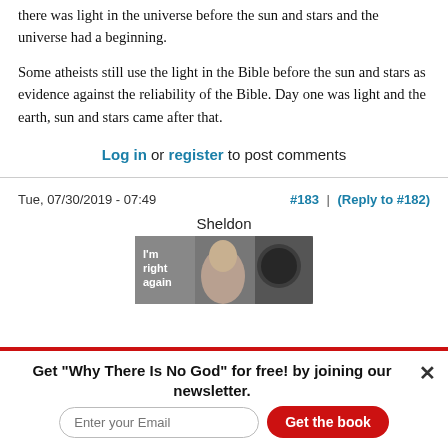there was light in the universe before the sun and stars and the universe had a beginning.
Some atheists still use the light in the Bible before the sun and stars as evidence against the reliability of the Bible. Day one was light and the earth, sun and stars came after that.
Log in or register to post comments
Tue, 07/30/2019 - 07:49
#183 | (Reply to #182)
Sheldon
[Figure (photo): Image of Sheldon character with text 'I'm right again']
Get "Why There Is No God" for free! by joining our newsletter.